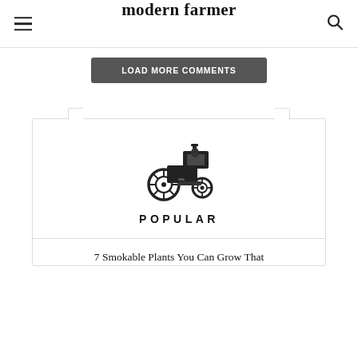modern farmer
Load more Comments
[Figure (logo): Black tractor icon logo for Modern Farmer website]
POPULAR
7 Smokable Plants You Can Grow That